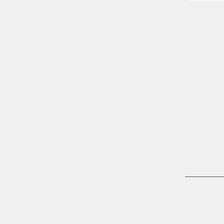|  |  | posit ellips beam

Move MAX in 3.0 |
|  |  | Cont floati value angle penu relati fall-o This conte be an using attrib

Depr |